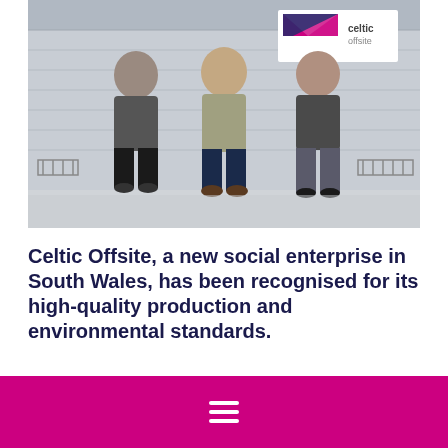[Figure (photo): Three men standing in front of a Celtic Offsite branded building/modular unit. The men are wearing work polo shirts and jackets. A Celtic Offsite logo sign is visible in the background.]
Celtic Offsite, a new social enterprise in South Wales, has been recognised for its high-quality production and environmental standards.
As part of the United Welsh Group, Celtic Offsite will
hamburger menu icon